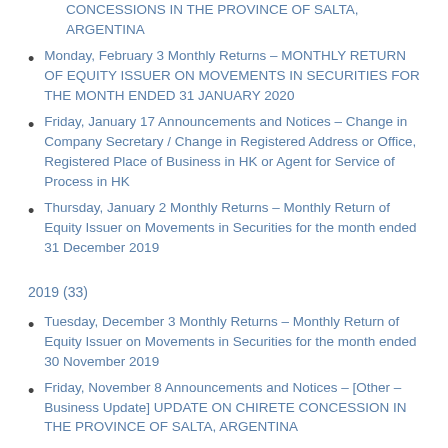CONCESSIONS IN THE PROVINCE OF SALTA, ARGENTINA
Monday, February 3 Monthly Returns – MONTHLY RETURN OF EQUITY ISSUER ON MOVEMENTS IN SECURITIES FOR THE MONTH ENDED 31 JANUARY 2020
Friday, January 17 Announcements and Notices – Change in Company Secretary / Change in Registered Address or Office, Registered Place of Business in HK or Agent for Service of Process in HK
Thursday, January 2 Monthly Returns – Monthly Return of Equity Issuer on Movements in Securities for the month ended 31 December 2019
2019 (33)
Tuesday, December 3 Monthly Returns – Monthly Return of Equity Issuer on Movements in Securities for the month ended 30 November 2019
Friday, November 8 Announcements and Notices – [Other – Business Update] UPDATE ON CHIRETE CONCESSION IN THE PROVINCE OF SALTA, ARGENTINA
Friday, November 1 Monthly Return of Equity Issuer on Movements in Securities for the month ended 31 October